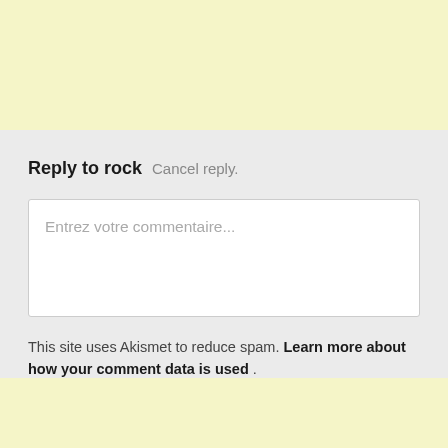Reply to rock   Cancel reply.
Entrez votre commentaire...
This site uses Akismet to reduce spam. Learn more about how your comment data is used .